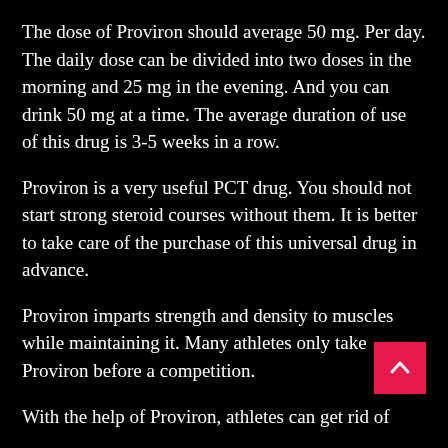The dose of Proviron should average 50 mg. Per day. The daily dose can be divided into two doses in the morning and 25 mg in the evening. And you can drink 50 mg at a time. The average duration of use of this drug is 3-5 weeks in a row.
Proviron is a very useful PCT drug. You should not start strong steroid courses without them. It is better to take care of the purchase of this universal drug in advance.
Proviron imparts strength and density to muscles while maintaining it. Many athletes only take Proviron before a competition.
With the help of Proviron, athletes can get rid of